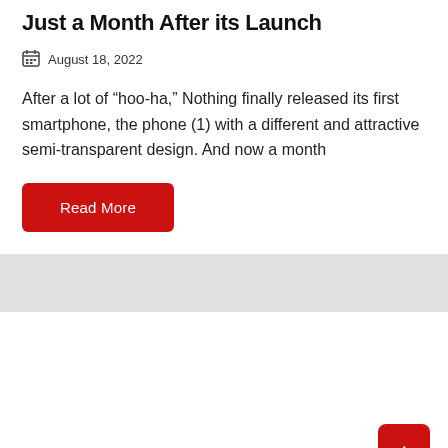Just a Month After its Launch
August 18, 2022
After a lot of “hoo-ha,” Nothing finally released its first smartphone, the phone (1) with a different and attractive semi-transparent design. And now a month
Read More